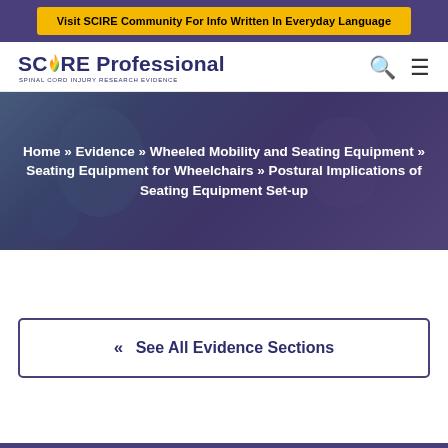Visit SCIRE Community For Info Written In Everyday Language
[Figure (logo): SCIRE Professional - Spinal Cord Injury Research Evidence logo with colorful flame icon]
Home » Evidence » Wheeled Mobility and Seating Equipment » Seating Equipment for Wheelchairs » Postural Implications of Seating Equipment Set-up
« See All Evidence Sections